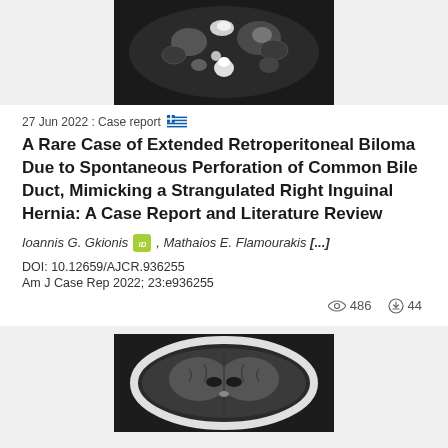[Figure (photo): CT scan axial cross-section of abdomen showing internal structures in grayscale]
27 Jun 2022 : Case report
A Rare Case of Extended Retroperitoneal Biloma Due to Spontaneous Perforation of Common Bile Duct, Mimicking a Strangulated Right Inguinal Hernia: A Case Report and Literature Review
Ioannis G. Gkionis, Mathaios E. Flamourakis [...]
DOI: 10.12659/AJCR.936255
Am J Case Rep 2022; 23:e936255
486 views, 44 downloads
[Figure (photo): CT scan axial cross-section of brain showing internal structures in grayscale]